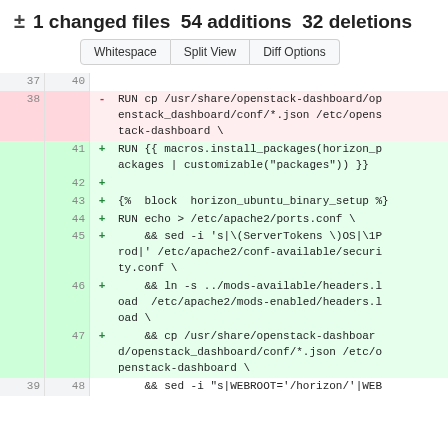± 1 changed files 54 additions 32 deletions
Whitespace  Split View  Diff Options
[Figure (screenshot): Code diff view showing file changes with line numbers, deletions highlighted in red (line 38: RUN cp /usr/share/openstack-dashboard/openstack_dashboard/conf/*.json /etc/openstack-dashboard \) and additions highlighted in green (lines 41-48: various shell commands for horizon setup including macros.install_packages, block horizon_ubuntu_binary_setup, apache2 config changes, and cp commands)]